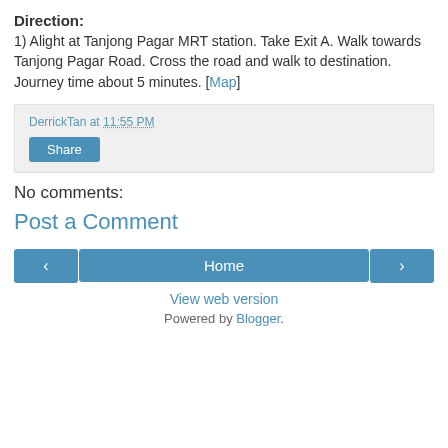Direction:
1) Alight at Tanjong Pagar MRT station. Take Exit A. Walk towards Tanjong Pagar Road. Cross the road and walk to destination. Journey time about 5 minutes. [Map]
DerrickTan at 11:55 PM
Share
No comments:
Post a Comment
Home
View web version
Powered by Blogger.